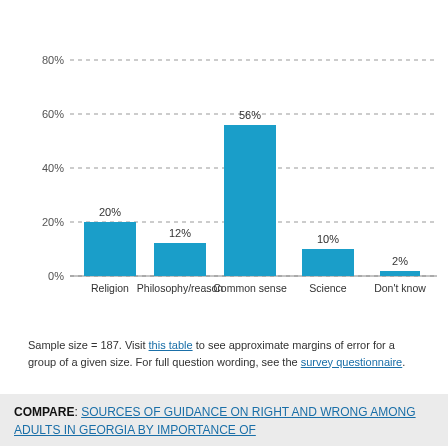[Figure (bar-chart): ]
Sample size = 187. Visit this table to see approximate margins of error for a group of a given size. For full question wording, see the survey questionnaire.
COMPARE: SOURCES OF GUIDANCE ON RIGHT AND WRONG AMONG ADULTS IN GEORGIA BY IMPORTANCE OF